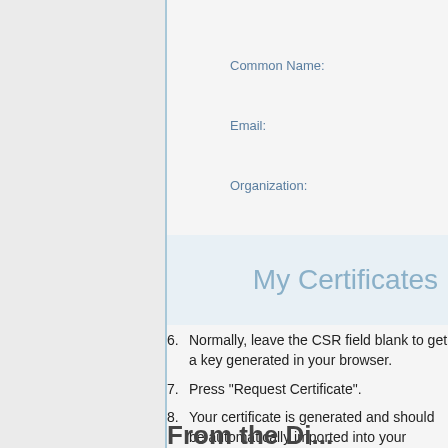Common Name:
Email:
Organization:
My Certificates
Normally, leave the CSR field blank to get a key generated in your browser.
Press "Request Certificate".
Your certificate is generated and should be automatically imported into your browser.
From the Di...